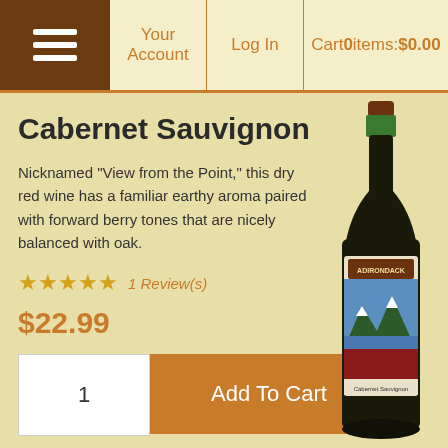Your Account | Log In | Cart 0 items: $0.00
Cabernet Sauvignon
Nicknamed "View from the Point," this dry red wine has a familiar earthy aroma paired with forward berry tones that are nicely balanced with oak.
★★★★★ 1 Review(s)
$22.99
[Figure (photo): Wine bottle with label showing Adirondack Cabernet Sauvignon]
Merlot
Nicknamed "Lake George Fireworks," this medium-bodied red has earthy tones